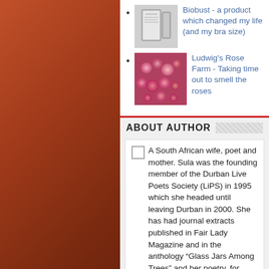Biobust - a product which changed my life (and my bra size)
Ludwig's Rose Farm - Taking time out to smell the roses
ABOUT AUTHOR
A South African wife, poet and mother. Sula was the founding member of the Durban Live Poets Society (LiPS) in 1995 which she headed until leaving Durban in 2000. She has had journal extracts published in Fair Lady Magazine and in the anthology “Glass Jars Among Trees” and her poetry, for which she has won several prizes, has been published in various South African and international anthologies. Sula is a loving mother to 4 children and loves hiking, the outdoors, reading, writing, cooking, baking and sewing. (written by my husband :) ) You can e-mail Sula at sula1968@gmail.com